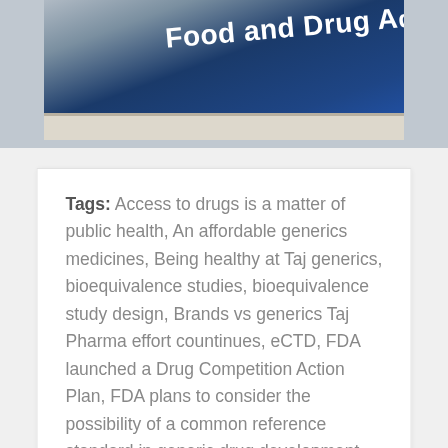[Figure (photo): Photograph of a blue sign reading 'Food and Drug Administration' (partially visible), with a stone/concrete border at the bottom and grass visible in the background.]
Tags: Access to drugs is a matter of public health, An affordable generics medicines, Being healthy at Taj generics, bioequivalence studies, bioequivalence study design, Brands vs generics Taj Pharma effort countinues, eCTD, FDA launched a Drug Competition Action Plan, FDA plans to consider the possibility of a common reference standard in generic drug development, future of generic drugs in india, generic competition, Generic drug better value for money, Generic drug inisiative by USFDA, Generic Medicine mission in India,